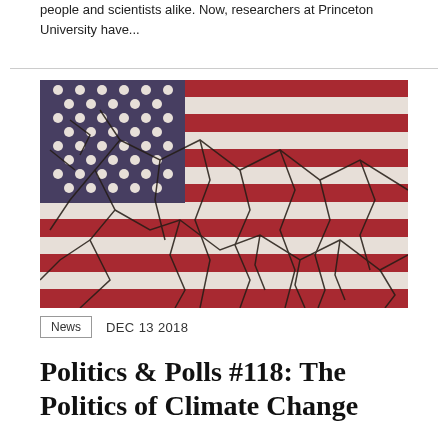people and scientists alike. Now, researchers at Princeton University have...
[Figure (photo): A cracked American flag image showing red, white and blue flag with dry cracked mud texture overlaid, symbolizing climate change or political division.]
News   DEC 13 2018
Politics & Polls #118: The Politics of Climate Change